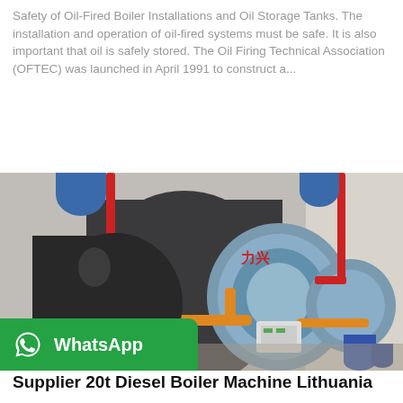Safety of Oil-Fired Boiler Installations and Oil Storage Tanks. The installation and operation of oil-fired systems must be safe. It is also important that oil is safely stored. The Oil Firing Technical Association (OFTEC) was launched in April 1991 to construct a...
Get Price
[Figure (photo): Industrial oil-fired boiler installation showing multiple large cylindrical blue/grey boiler units with orange gas pipes, red pipes, and blue ventilation ducts in a factory/plant room setting. A WhatsApp contact badge is overlaid at the bottom left.]
Supplier 20t Diesel Boiler Machine Lithuania